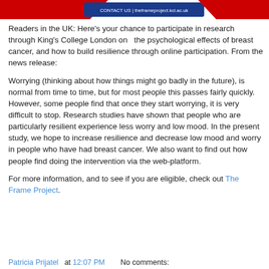[Figure (logo): Partial banner/logo image at top of page showing a red and blue graphic with website URL text]
Readers in the UK: Here's your chance to participate in research through King's College London on   the psychological effects of breast cancer, and how to build resilience through online participation. From the news release:
Worrying (thinking about how things might go badly in the future), is normal from time to time, but for most people this passes fairly quickly. However, some people find that once they start worrying, it is very difficult to stop. Research studies have shown that people who are particularly resilient experience less worry and low mood. In the present study, we hope to increase resilience and decrease low mood and worry in people who have had breast cancer. We also want to find out how people find doing the intervention via the web-platform.
For more information, and to see if you are eligible, check out The Frame Project.
Patricia Prijatel at 12:07 PM    No comments: